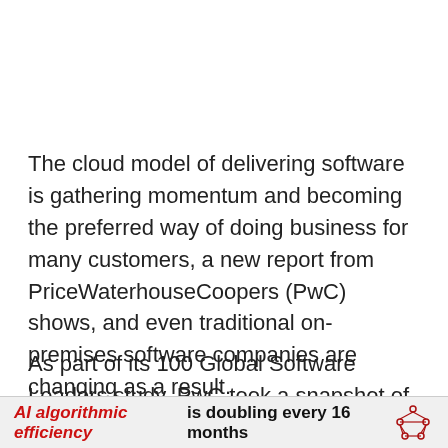The cloud model of delivering software is gathering momentum and becoming the preferred way of doing business for many customers, a new report from PriceWaterhouseCoopers (PwC) shows, and even traditional on-premises software companies are changing as a result.
As part of its 100 Global Software Leaders study, PwC took a snapshot of the top 25 fastest growing cloud
AI algorithmic efficiency is doubling every 16 months